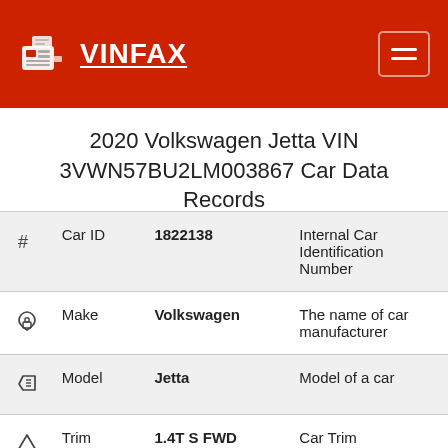VINFAX
2020 Volkswagen Jetta VIN 3VWN57BU2LM003867 Car Data Records
| # | Field | Value | Description |
| --- | --- | --- | --- |
| # | Car ID | 1822138 | Internal Car Identification Number |
| home | Make | Volkswagen | The name of car manufacturer |
| tag | Model | Jetta | Model of a car |
| triangle | Trim | 1.4T S FWD | Car Trim |